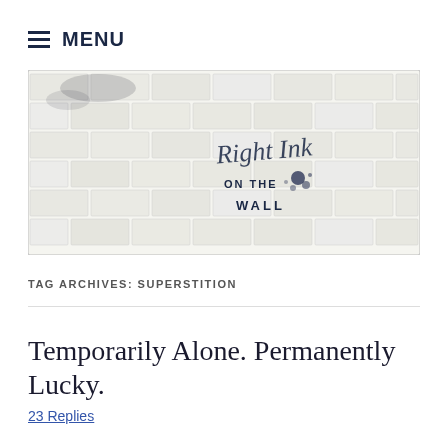≡ MENU
[Figure (illustration): Logo image of 'Right Ink on the Wall' — a decorative hand-drawn brick wall with cursive script text 'Right Ink on the Wall' written across the bricks in dark ink with ink splatters]
TAG ARCHIVES: SUPERSTITION
Temporarily Alone. Permanently Lucky.
23 Replies